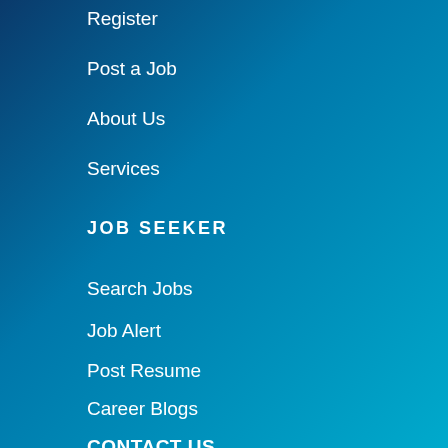Register
Post a Job
About Us
Services
JOB SEEKER
Search Jobs
Job Alert
Post Resume
Career Blogs
CONTACT US
ABOUT US